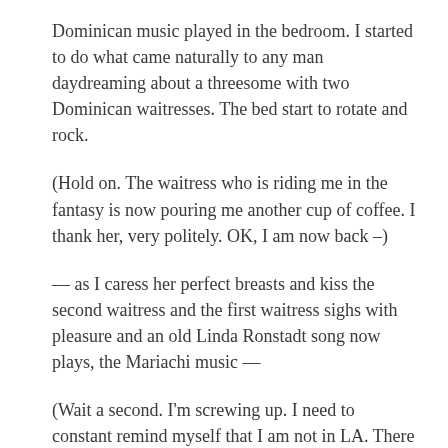Dominican music played in the bedroom. I started to do what came naturally to any man daydreaming about a threesome with two Dominican waitresses. The bed start to rotate and rock.
(Hold on. The waitress who is riding me in the fantasy is now pouring me another cup of coffee. I thank her, very politely. OK, I am now back –)
— as I caress her perfect breasts and kiss the second waitress and the first waitress sighs with pleasure and an old Linda Ronstadt song now plays, the Mariachi music —
(Wait a second. I'm screwing up. I need to constant remind myself that I am not in LA. There are no mariachis here. These are Dominican women who are taking me, intense women with powerful thighs, rich and fertile as the Cibao valley and as sweet tasting as the